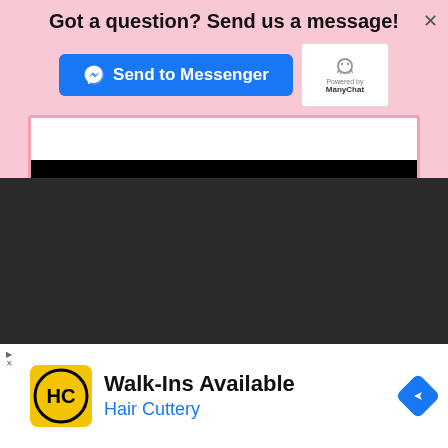Got a question? Send us a message!
[Figure (screenshot): Blue 'Send to Messenger' button with Messenger logo icon, and ManyChat powered-by badge]
[Figure (screenshot): Dark overlay area with a white/pink card partially visible, showing a black input bar at the bottom, and a white collapse chevron button]
[Figure (screenshot): Google ad banner for Hair Cuttery with HC logo, 'Walk-Ins Available' text, Hair Cuttery link in blue, and a blue navigation diamond icon]